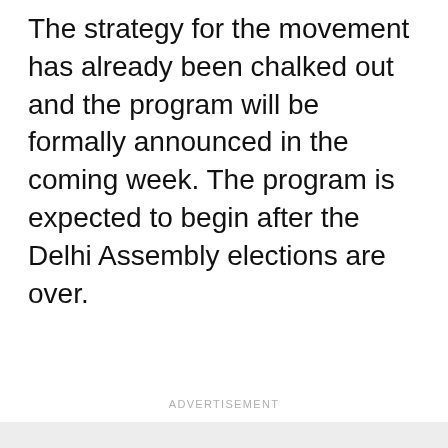The strategy for the movement has already been chalked out and the program will be formally announced in the coming week. The program is expected to begin after the Delhi Assembly elections are over.
ADVERTISEMENT